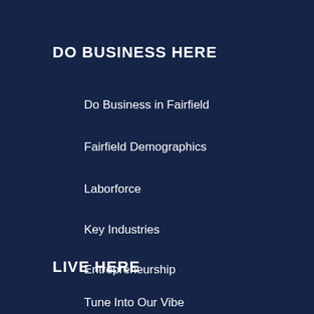DO BUSINESS HERE
Do Business in Fairfield
Fairfield Demographics
Laborforce
Key Industries
Entrepreneurship
LIVE HERE
Tune Into Our Vibe